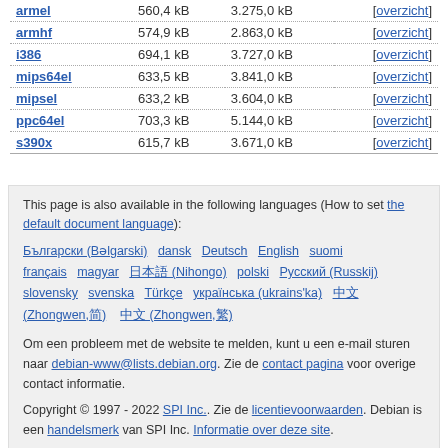| Architecture | Download size | Installed size | Links |
| --- | --- | --- | --- |
| armel | 560,4 kB | 3.275,0 kB | [overzicht] |
| armhf | 574,9 kB | 2.863,0 kB | [overzicht] |
| i386 | 694,1 kB | 3.727,0 kB | [overzicht] |
| mips64el | 633,5 kB | 3.841,0 kB | [overzicht] |
| mipsel | 633,2 kB | 3.604,0 kB | [overzicht] |
| ppc64el | 703,3 kB | 5.144,0 kB | [overzicht] |
| s390x | 615,7 kB | 3.671,0 kB | [overzicht] |
This page is also available in the following languages (How to set the default document language):
Български (Bəlgarski) dansk Deutsch English suomi français magyar 日本語 (Nihongo) polski Русский (Russkij) slovensky svenska Türkçe українська (ukrains'ka) 中文 (Zhongwen,简) 中文 (Zhongwen,繁)
Om een probleem met de website te melden, kunt u een e-mail sturen naar debian-www@lists.debian.org. Zie de contact pagina voor overige contact informatie.
Copyright © 1997 - 2022 SPI Inc.. Zie de licentievoorwaarden. Debian is een handelsmerk van SPI Inc. Informatie over deze site.
This service is sponsored by 1&1 Internet AG.